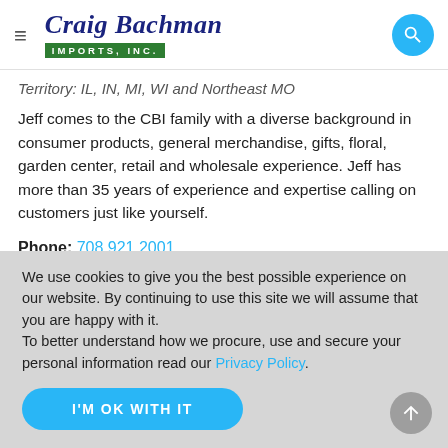Craig Bachman Imports, Inc.
Territory: IL, IN, MI, WI and Northeast MO
Jeff comes to the CBI family with a diverse background in consumer products, general merchandise, gifts, floral, garden center, retail and wholesale experience. Jeff has more than 35 years of experience and expertise calling on customers just like yourself.
Phone: 708 921 2001
We use cookies to give you the best possible experience on our website. By continuing to use this site we will assume that you are happy with it. To better understand how we procure, use and secure your personal information read our Privacy Policy.